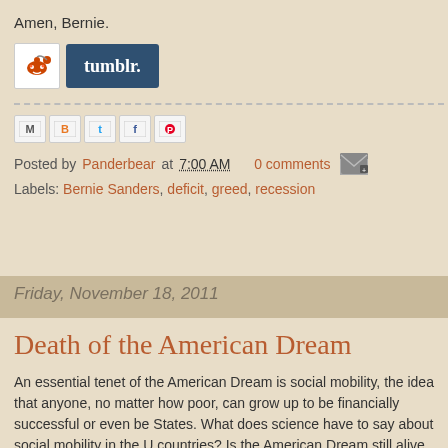Amen, Bernie.
[Figure (other): Share buttons: Reddit icon button and Tumblr button]
[Figure (other): Social sharing icon row: Email, Blogger, Twitter, Facebook, Pinterest icons]
Posted by Panderbear at 7:00 AM   0 comments
Labels: Bernie Sanders, deficit, greed, recession
Friday, November 18, 2011
Death of the American Dream
An essential tenet of the American Dream is social mobility, the idea that anyone, no matter how poor, can grow up to be financially successful or even become President of the United States. What does science have to say about social mobility in the US compared to other countries? Is the American Dream still alive and well or is it dying under the weight of the Republican tax war on the non-rich?